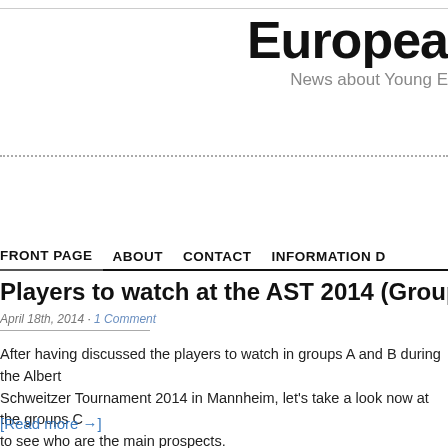Europea
News about Young E
FRONT PAGE   ABOUT   CONTACT   INFORMATION D
Players to watch at the AST 2014 (Group C+D)
April 18th, 2014 · 1 Comment
After having discussed the players to watch in groups A and B during the Albert Schweitzer Tournament 2014 in Mannheim, let's take a look now at the groups C to see who are the main prospects.
[Read more →]